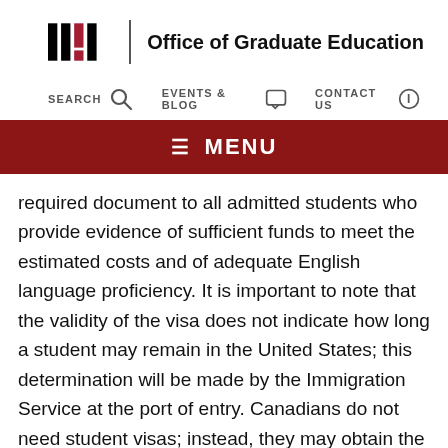[Figure (logo): MIT logo with bars and Office of Graduate Education wordmark]
SEARCH  EVENTS & BLOG  CONTACT US
≡ MENU
required document to all admitted students who provide evidence of sufficient funds to meet the estimated costs and of adequate English language proficiency. It is important to note that the validity of the visa does not indicate how long a student may remain in the United States; this determination will be made by the Immigration Service at the port of entry. Canadians do not need student visas; instead, they may obtain the appropriate immigration status at the port of entry to the